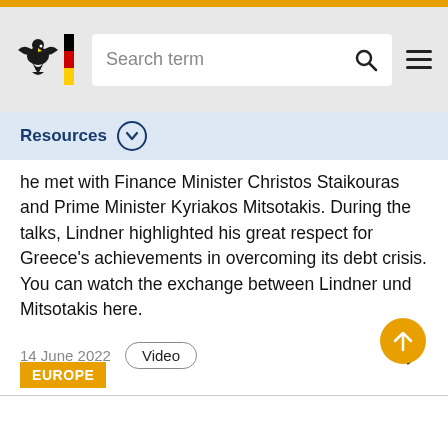[Figure (screenshot): German Federal government website header with eagle logo, German flag strip, search bar, and hamburger menu]
Resources
he met with Finance Minister Christos Staikouras and Prime Minister Kyriakos Mitsotakis. During the talks, Lindner highlighted his great respect for Greece’s achievements in overcoming its debt crisis. You can watch the exchange between Lindner und Mitsotakis here.
14 June 2022   Video
[Figure (other): Arrow pointing right, scroll-to-top button, and EUROPE category tag]